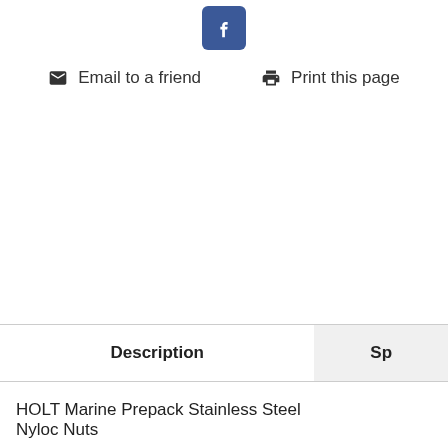[Figure (logo): Facebook share button - blue rounded rectangle with white 'f' icon]
Email to a friend   Print this page
| Description | Sp |
| --- | --- |
| HOLT Marine Prepack Stainless Steel Nyloc Nuts |  |